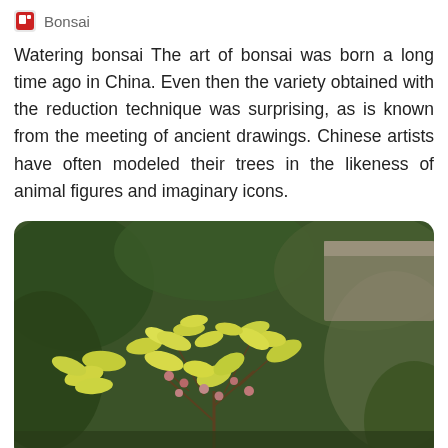Bonsai
Watering bonsai The art of bonsai was born a long time ago in China. Even then the variety obtained with the reduction technique was surprising, as is known from the meeting of ancient drawings. Chinese artists have often modeled their trees in the likeness of animal figures and imaginary icons.
[Figure (photo): Close-up photograph of a bonsai tree with yellow-green leaves and small pink/red buds or berries, with blurred green foliage and a building in the background.]